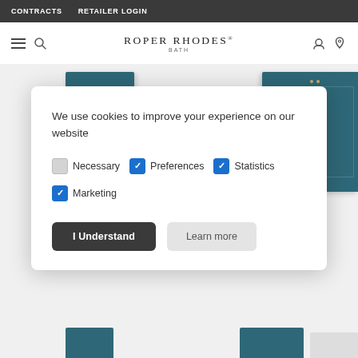CONTRACTS  RETAILER LOGIN
ROPER RHODES® BATH
[Figure (screenshot): Two teal/dark blue bathroom cabinet images visible behind the cookie consent modal]
We use cookies to improve your experience on our website
Necessary (unchecked), Preferences (checked), Statistics (checked)
Marketing (checked)
I Understand
Learn more